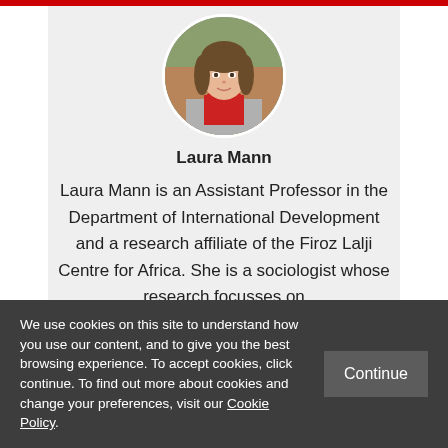[Figure (photo): Circular portrait photo of Laura Mann, a woman with long brown hair wearing a grey blazer and red top, photographed outdoors with brick wall and foliage behind her.]
Laura Mann
Laura Mann is an Assistant Professor in the Department of International Development and a research affiliate of the Firoz Lalji Centre for Africa. She is a sociologist whose research focusses on
We use cookies on this site to understand how you use our content, and to give you the best browsing experience. To accept cookies, click continue. To find out more about cookies and change your preferences, visit our Cookie Policy.